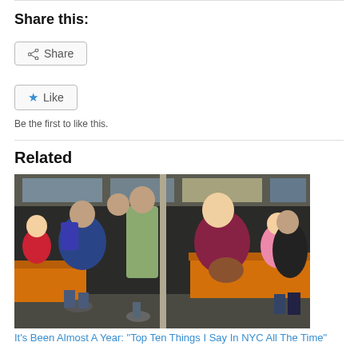Share this:
Share (button)
Like (button)
Be the first to like this.
Related
[Figure (photo): People sitting and standing inside a subway car with orange seats. Several adults and children are visible.]
It's Been Almost A Year: "Top Ten Things I Say In NYC All The Time"